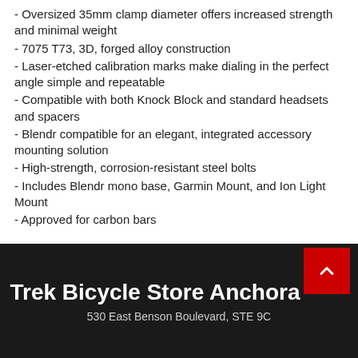- Oversized 35mm clamp diameter offers increased strength and minimal weight
- 7075 T73, 3D, forged alloy construction
- Laser-etched calibration marks make dialing in the perfect angle simple and repeatable
- Compatible with both Knock Block and standard headsets and spacers
- Blendr compatible for an elegant, integrated accessory mounting solution
- High-strength, corrosion-resistant steel bolts
- Includes Blendr mono base, Garmin Mount, and Ion Light Mount
- Approved for carbon bars
Trek Bicycle Store Anchorage
530 East Benson Boulevard, STE 9C